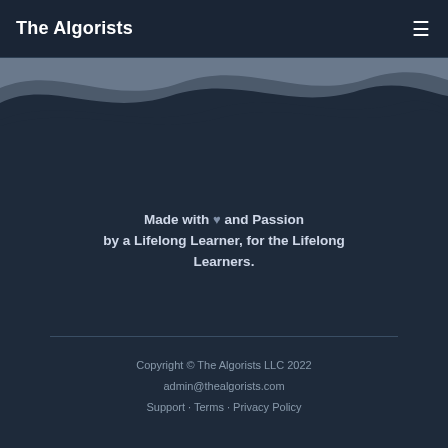The Algorists
[Figure (illustration): Decorative wave shapes in dark navy and grey tones creating a layered wave pattern]
Made with ♥ and Passion by a Lifelong Learner, for the Lifelong Learners.
Copyright © The Algorists LLC 2022
admin@thealgorists.com
Support · Terms · Privacy Policy